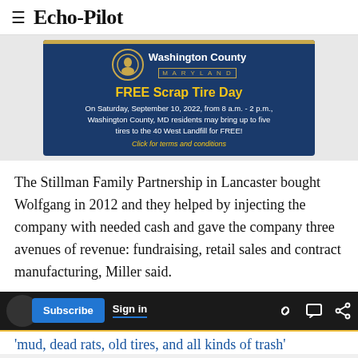Echo-Pilot
[Figure (infographic): Washington County Maryland FREE Scrap Tire Day advertisement. On Saturday, September 10, 2022, from 8 a.m. - 2 p.m., Washington County, MD residents may bring up to five tires to the 40 West Landfill for FREE! Click for terms and conditions]
The Stillman Family Partnership in Lancaster bought Wolfgang in 2012 and they helped by injecting the company with needed cash and gave the company three avenues of revenue: fundraising, retail sales and contract manufacturing, Miller said.
'mud, dead rats, old tires, and all kinds of trash'